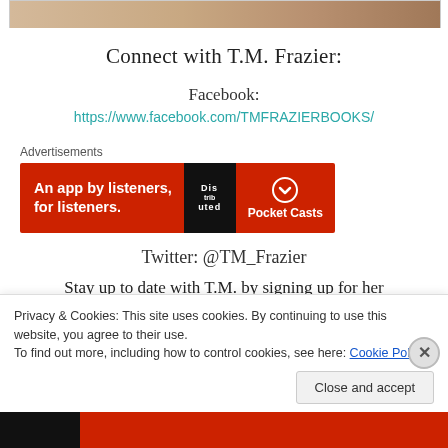[Figure (photo): Partial photo visible at top of page showing a person]
Connect with T.M. Frazier:
Facebook:
https://www.facebook.com/TMFRAZIERBOOKS/
[Figure (infographic): Pocket Casts advertisement banner: 'An app by listeners, for listeners']
Twitter: @TM_Frazier
Stay up to date with T.M. by signing up for her
Privacy & Cookies: This site uses cookies. By continuing to use this website, you agree to their use.
To find out more, including how to control cookies, see here: Cookie Policy